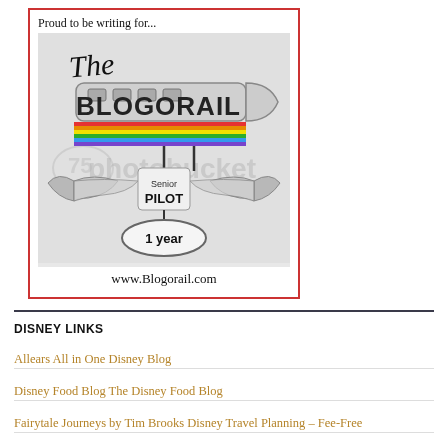[Figure (logo): The Blogorail Senior Pilot badge with monorail graphic, wings, '1 year' oval, watermarked photobucket background, and 'Proud to be writing for...' text and 'www.Blogorail.com' website URL]
DISNEY LINKS
Allears All in One Disney Blog
Disney Food Blog The Disney Food Blog
Fairytale Journeys by Tim Brooks Disney Travel Planning – Fee-Free